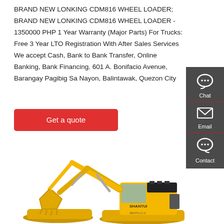BRAND NEW LONKING CDM816 WHEEL LOADER; BRAND NEW LONKING CDM816 WHEEL LOADER - 1350000 PHP 1 Year Warranty (Major Parts) For Trucks: Free 3 Year LTO Registration With After Sales Services We accept Cash, Bank to Bank Transfer, Online Banking, Bank Financing. 601 A. Bonifacio Avenue, Barangay Pagibig Sa Nayon, Balintawak, Quezon City
[Figure (other): Get a quote button — red rounded rectangle with white text]
[Figure (illustration): Sidebar with chat, email, and contact icons on dark grey background]
[Figure (photo): Yellow Shantui excavator on white background]